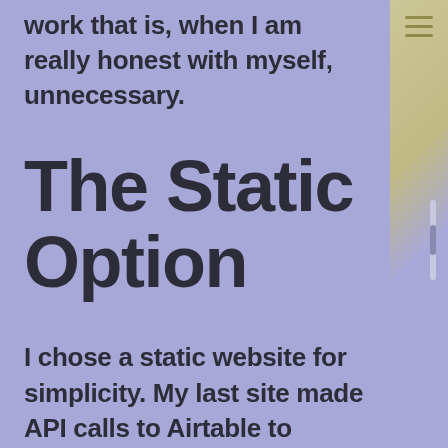work that is, when I am really honest with myself, unnecessary.
The Static Option
I chose a static website for simplicity. My last site made API calls to Airtable to analyze